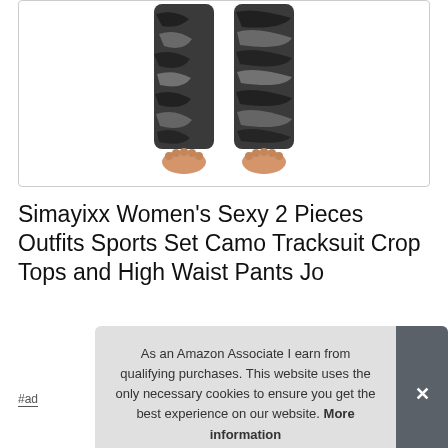[Figure (photo): Product photo of camo patterned leggings/pants worn on legs, black and grey camouflage pattern, bare feet visible at the bottom, white background]
Simayixx Women's Sexy 2 Pieces Outfits Sports Set Camo Tracksuit Crop Tops and High Waist Pants Jo
#ad
As an Amazon Associate I earn from qualifying purchases. This website uses the only necessary cookies to ensure you get the best experience on our website. More information